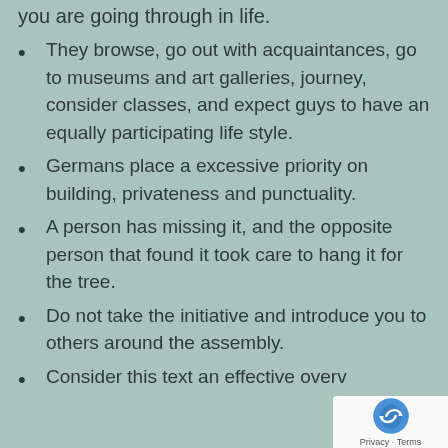you are going through in life.
They browse, go out with acquaintances, go to museums and art galleries, journey, consider classes, and expect guys to have an equally participating life style.
Germans place a excessive priority on building, privateness and punctuality.
A person has missing it, and the opposite person that found it took care to hang it for the tree.
Do not take the initiative and introduce you to others around the assembly.
Consider this text an effective overv…